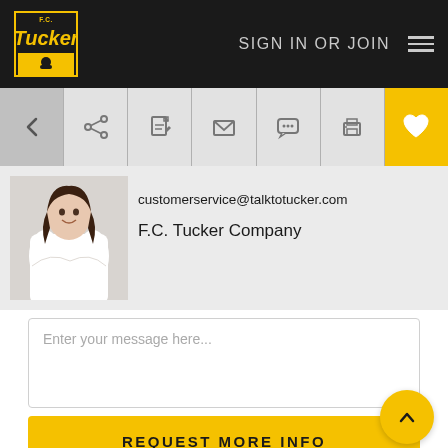SIGN IN OR JOIN
[Figure (screenshot): Toolbar with navigation icons: back arrow, share, edit, email, chat, print, heart/favorite (yellow)]
[Figure (photo): Agent photo - woman in white blazer with arms crossed, smiling]
customerservice@talktotucker.com
F.C. Tucker Company
Enter your message here...
REQUEST MORE INFO
Property Description
Endless possibilities for this 2 bedroom, 1 bath home on